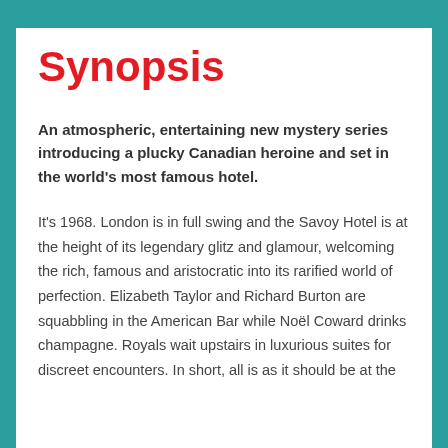Synopsis
An atmospheric, entertaining new mystery series introducing a plucky Canadian heroine and set in the world's most famous hotel.
It's 1968. London is in full swing and the Savoy Hotel is at the height of its legendary glitz and glamour, welcoming the rich, famous and aristocratic into its rarified world of perfection. Elizabeth Taylor and Richard Burton are squabbling in the American Bar while Noël Coward drinks champagne. Royals wait upstairs in luxurious suites for discreet encounters. In short, all is as it should be at the